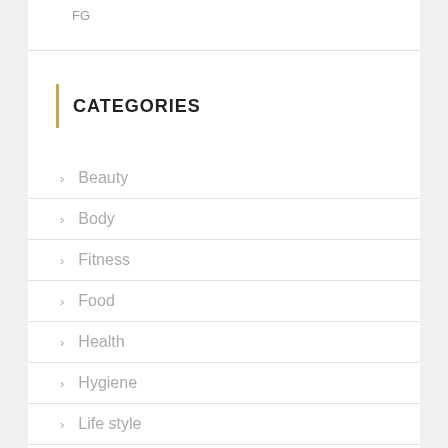FG
CATEGORIES
Beauty
Body
Fitness
Food
Health
Hygiene
Life style